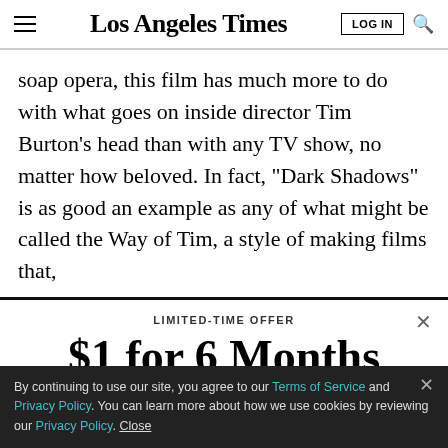Los Angeles Times
soap opera, this film has much more to do with what goes on inside director Tim Burton’s head than with any TV show, no matter how beloved. In fact, “Dark Shadows” is as good an example as any of what might be called the Way of Tim, a style of making films that,
LIMITED-TIME OFFER
$1 for 6 Months
SUBSCRIBE NOW
By continuing to use our site, you agree to our Terms of Service and Privacy Policy. You can learn more about how we use cookies by reviewing our Privacy Policy. Close